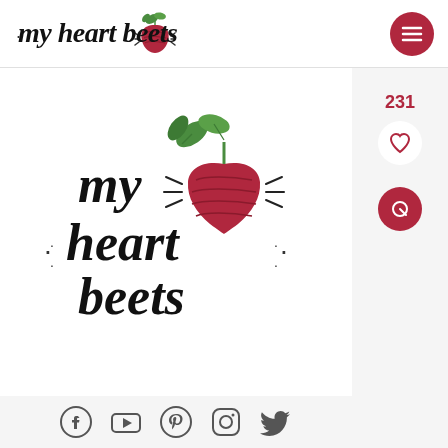[Figure (logo): My Heart Beets website header logo with cursive text and beet illustration]
[Figure (logo): Large My Heart Beets logo centered on page with cursive text and colorful beet illustration]
[Figure (infographic): Social media icons row: Facebook, YouTube, Pinterest, Instagram, Twitter]